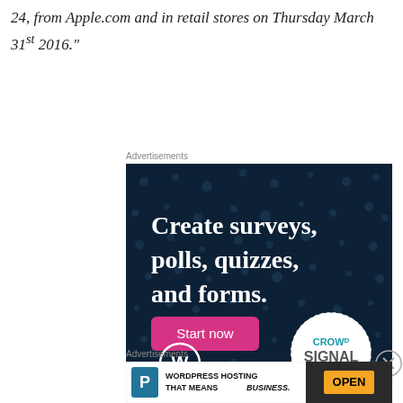24, from Apple.com and in retail stores on Thursday March 31st 2016."
Advertisements
[Figure (illustration): Advertisement banner for Crowdsignal: dark navy background with dots pattern, text 'Create surveys, polls, quizzes, and forms.' in white bold font, pink 'Start now' button, WordPress logo bottom left, Crowdsignal logo bottom right in white circle with dotted border.]
Advertisements
[Figure (illustration): Advertisement banner for WordPress Hosting: white left section with large P logo and text 'WORDPRESS HOSTING THAT MEANS BUSINESS.' in bold, right section shows photo of OPEN sign.]